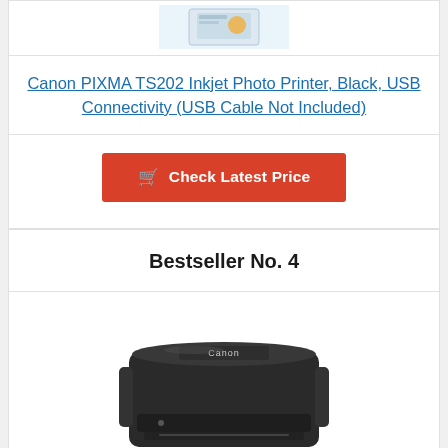[Figure (photo): Product image of Canon PIXMA TS202 printer (top, partially visible)]
Canon PIXMA TS202 Inkjet Photo Printer, Black, USB Connectivity (USB Cable Not Included)
Check Latest Price
Bestseller No. 4
[Figure (photo): Image of a Canon portable/mobile printer, black, seen from above at slight angle]